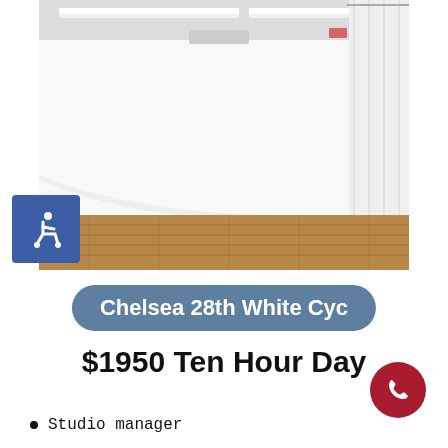[Figure (photo): Interior of a photography studio with white cyclorama backdrop and hardwood floor, with white curtains on the right side and fluorescent lights on the ceiling.]
Chelsea 28th White Cyc
$1950 Ten Hour Day
Studio manager